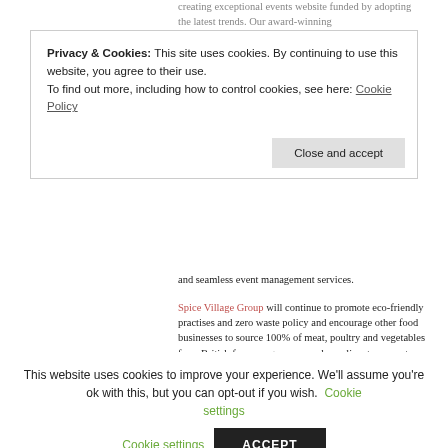creating exceptional events website funded by adopting the latest trends. Our award-winning
and seamless event management services.
Spice Village Group will continue to promote eco-friendly practises and zero waste policy and encourage other food businesses to source 100% of meat, poultry and vegetables from British farmers, growers, and suppliers to promote and contribute into the British Economy. We also want to continue supporting and give back to our local communities. ,
Privacy & Cookies: This site uses cookies. By continuing to use this website, you agree to their use. To find out more, including how to control cookies, see here: Cookie Policy
Close and accept
This website uses cookies to improve your experience. We'll assume you're ok with this, but you can opt-out if you wish. Cookie settings ACCEPT